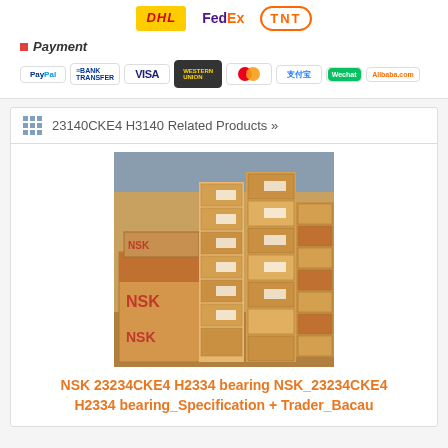[Figure (logo): DHL, FedEx, and TNT shipping carrier logos]
Payment
[Figure (logo): Payment method logos: PayPal, Bank Transfer, VISA, Western Union, MasterCard, Alipay, WeChat, Alibaba.com]
23140CKE4 H3140 Related Products »
[Figure (photo): Photo of stacked NSK bearing boxes in a warehouse]
NSK 23234CKE4 H2334 bearing NSK_23234CKE4 H2334 bearing_Specification + Trader_Bacau